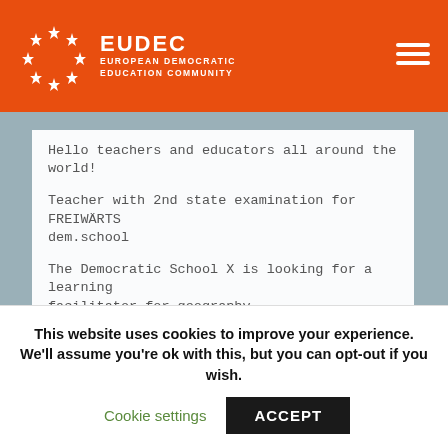EUDEC EUROPEAN DEMOCRATIC EDUCATION COMMUNITY
Hello teachers and educators all around the world!
Teacher with 2nd state examination for FREIWÄRTS dem.school
The Democratic School X is looking for a learning facilitator for geography
Campaign for Ukrainian refugees
Job offer
Job offer
This website uses cookies to improve your experience. We'll assume you're ok with this, but you can opt-out if you wish.
Cookie settings   ACCEPT